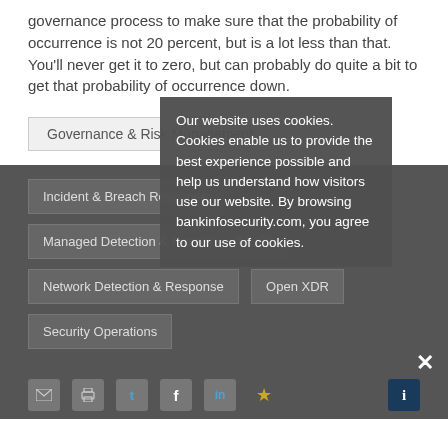governance process to make sure that the probability of occurrence is not 20 percent, but is a lot less than that. You'll never get it to zero, but can probably do quite a bit to get that probability of occurrence down.
Governance & Risk Management
Incident & Breach Response
Managed Detection & Response (MDR)
Network Detection & Response
Open XDR
Security Operations
Our website uses cookies. Cookies enable us to provide the best experience possible and help us understand how visitors use our website. By browsing bankinfosecurity.com, you agree to our use of cookies.